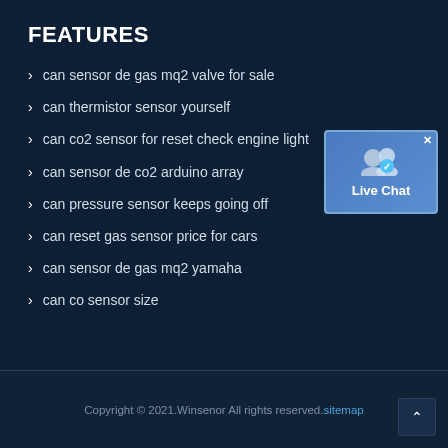FEATURES
> can sensor de gas mq2 valve for sale
> can thermistor sensor yourself
> can co2 sensor for reset check engine light
> can sensor de co2 arduino array
> can pressure sensor keeps going off
> can reset gas sensor price for cars
> can sensor de gas mq2 yamaha
> can co sensor size
[Figure (illustration): Live Chat widget button with two user silhouette icons and a verified badge, labeled 'Live Chat']
Copyright © 2021.Winsenor All rights reserved. sitemap